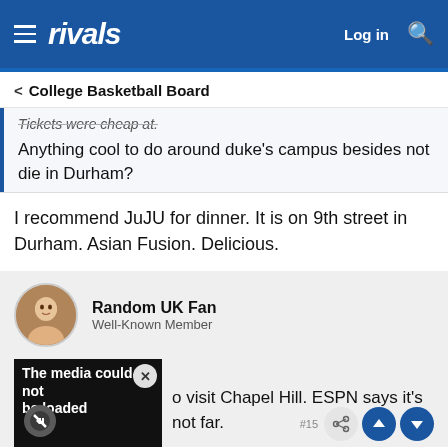rivals — Log in [search]
< College Basketball Board
Tickets were cheap at.
Anything cool to do around duke's campus besides not die in Durham?
I recommend JuJU for dinner. It is on 9th street in Durham. Asian Fusion. Delicious.
Random UK Fan
Well-Known Member
[Figure (other): Partially loaded media/ad block with X symbol saying 'The media could not be loaded']
o visit Chapel Hill. ESPN says it's not far.